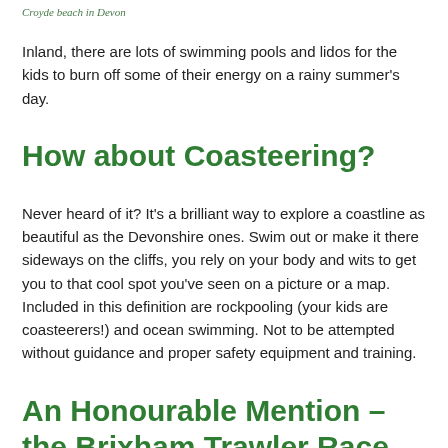Croyde beach in Devon
Inland, there are lots of swimming pools and lidos for the kids to burn off some of their energy on a rainy summer's day.
How about Coasteering?
Never heard of it? It's a brilliant way to explore a coastline as beautiful as the Devonshire ones. Swim out or make it there sideways on the cliffs, you rely on your body and wits to get you to that cool spot you’ve seen on a picture or a map. Included in this definition are rockpooling (your kids are coasteerers!) and ocean swimming. Not to be attempted without guidance and proper safety equipment and training.
An Honourable Mention – the Brixham Trawler Race